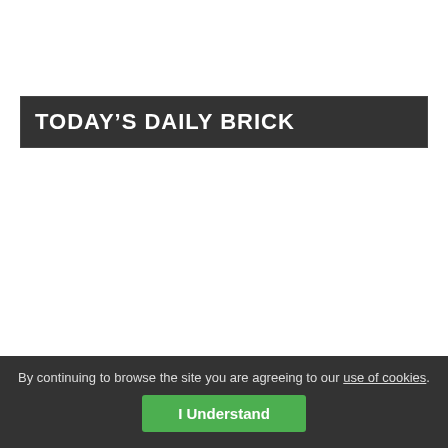TODAY'S DAILY BRICK
By continuing to browse the site you are agreeing to our use of cookies.
I Understand